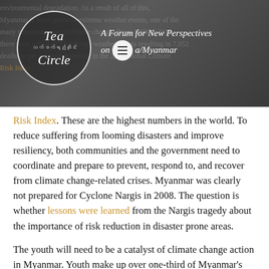[Figure (other): Header image showing Tea Circle logo (circular badge with 'Tea' and Burmese text 'လက်ဖက်ရည်ဆိုင်း' and 'Circle') alongside text 'A Forum for New Perspectives on Burma/Myanmar' with a hamburger menu icon circle, overlaid on a dark photographic background with partially visible text about environmental degradation and Myanmar climate events.]
Risk Index. These are the highest numbers in the world. To reduce suffering from looming disasters and improve resiliency, both communities and the government need to coordinate and prepare to prevent, respond to, and recover from climate change-related crises. Myanmar was clearly not prepared for Cyclone Nargis in 2008. The question is whether lessons were learned from the Nargis tragedy about the importance of risk reduction in disaster prone areas.
The youth will need to be a catalyst of climate change action in Myanmar. Youth make up over one-third of Myanmar's population. As part of a project on life and politics in the China-Myanmar Economic Corridor developed by URBANIZE,